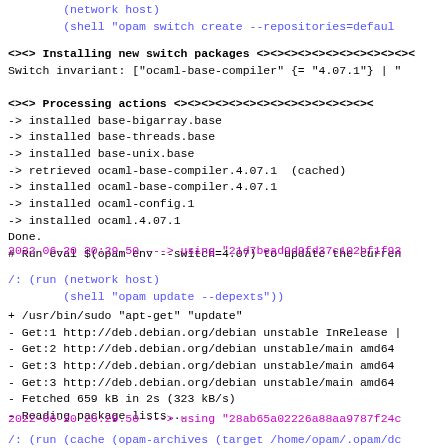(network host)
        (shell "opam switch create --repositories=defaul
<><> Installing new switch packages <><><><><><><><><>
Switch invariant: ["ocaml-base-compiler" {= "4.07.1"} | "
<><> Processing actions <><><><><><><><><><><><><><><>
-> installed base-bigarray.base
-> installed base-threads.base
-> installed base-unix.base
-> retrieved ocaml-base-compiler.4.07.1  (cached)
-> installed ocaml-base-compiler.4.07.1
-> installed ocaml-config.1
-> installed ocaml.4.07.1
Done.
# Run eval $(opam env --switch=4.07) to update the curren
2022-06-20 20:29.50 ---> using "21d7bead9d9fd37c102bf1f93
/: (run (network host)
        (shell "opam update --depexts"))
+ /usr/bin/sudo "apt-get" "update"
- Get:1 http://deb.debian.org/debian unstable InRelease |
- Get:2 http://deb.debian.org/debian unstable/main amd64
- Get:3 http://deb.debian.org/debian unstable/main amd64
- Get:3 http://deb.debian.org/debian unstable/main amd64
- Fetched 659 kB in 2s (323 kB/s)
- Reading package lists...
2022-06-20 20:29.50 ---> using "28ab65a02226a88aa9787f24c
/: (run (cache (opam-archives (target /home/opam/.opam/dc